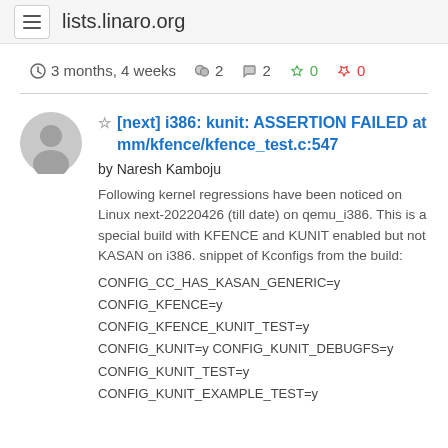lists.linaro.org
3 months, 4 weeks  2  2  0  0
[next] i386: kunit: ASSERTION FAILED at mm/kfence/kfence_test.c:547
by Naresh Kamboju
Following kernel regressions have been noticed on Linux next-20220426 (till date) on qemu_i386. This is a special build with KFENCE and KUNIT enabled but not KASAN on i386. snippet of Kconfigs from the build:
CONFIG_CC_HAS_KASAN_GENERIC=y
CONFIG_KFENCE=y
CONFIG_KFENCE_KUNIT_TEST=y
CONFIG_KUNIT=y CONFIG_KUNIT_DEBUGFS=y
CONFIG_KUNIT_TEST=y
CONFIG_KUNIT_EXAMPLE_TEST=y